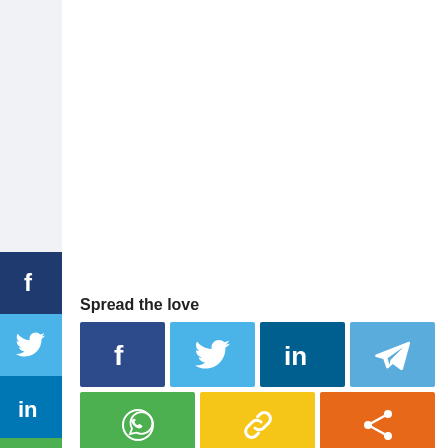[Figure (infographic): Social media share buttons sidebar on the left: Facebook (dark blue), Twitter (light blue), LinkedIn (dark blue), WhatsApp (green), Telegram (yellow/orange), Link (yellow/orange), Share (orange). Bottom section shows 'Spread the love' heading with a 2-row grid of share buttons: top row: Facebook, Twitter, LinkedIn, Telegram; bottom row: WhatsApp, Link, Share.]
Spread the love